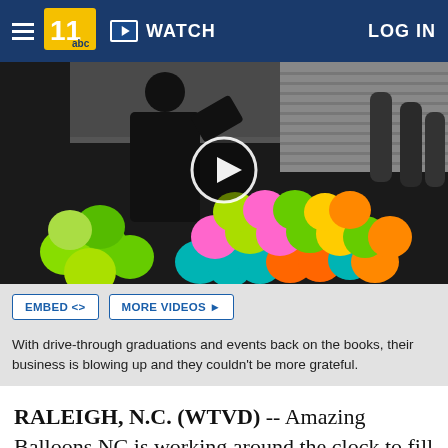WATCH  LOG IN
[Figure (screenshot): Video thumbnail showing a person in a black mask and hoodie working with colorful balloons (green, yellow, pink, orange, teal) in a warehouse/shop setting, with helium tanks in the background. A white play button circle is overlaid in the center.]
EMBED <>   MORE VIDEOS ▶
With drive-through graduations and events back on the books, their business is blowing up and they couldn't be more grateful.
RALEIGH, N.C. (WTVD) -- Amazing Balloons NC is working around the clock to fill orders.